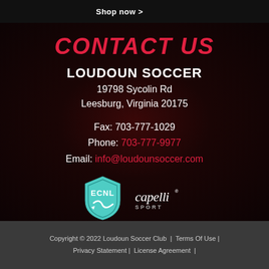Shop now >
CONTACT US
LOUDOUN SOCCER
19798 Sycolin Rd
Leesburg, Virginia 20175
Fax: 703-777-1029
Phone: 703-777-9977
Email: info@loudounsoccer.com
[Figure (logo): ECNL shield logo and Capelli Sport logo]
Copyright © 2022 Loudoun Soccer Club  |  Terms Of Use |  Privacy Statement |  License Agreement |